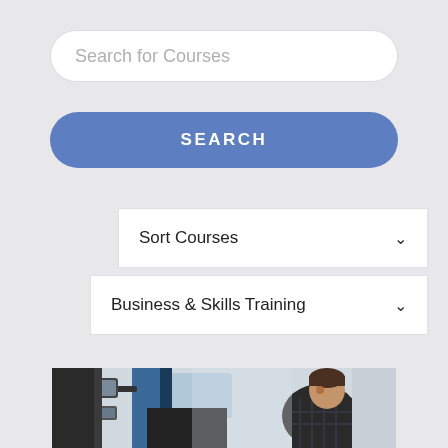Search for Courses
SEARCH
Sort Courses
Business & Skills Training
[Figure (photo): A man leaning into the cab/door area of a large truck or bus, viewed from outside. The vehicle has blue and black panels. The man has dark hair and is wearing a plaid shirt.]